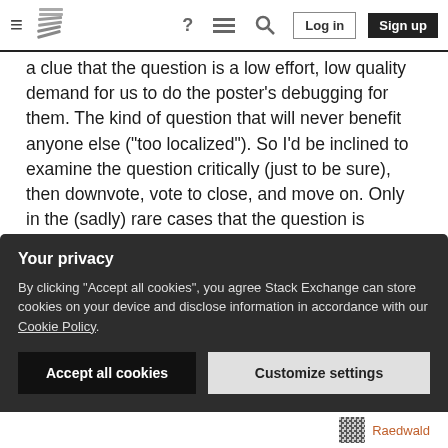Stack Exchange navigation bar with hamburger menu, logo, help, chat, search icons, Log in and Sign up buttons
a clue that the question is a low effort, low quality demand for us to do the poster's debugging for them. The kind of question that will never benefit anyone else ("too localized"). So I'd be inclined to examine the question critically (just to be sure), then downvote, vote to close, and move on. Only in the (sadly) rare cases that the question is inherently good would I edit. I do not recall any high quality questions that had large amounts of unnecessary code. They might have had some unnecessary code, but it was so little that editing it out would not
Your privacy
By clicking "Accept all cookies", you agree Stack Exchange can store cookies on your device and disclose information in accordance with our Cookie Policy.
Accept all cookies   Customize settings
Raedwald